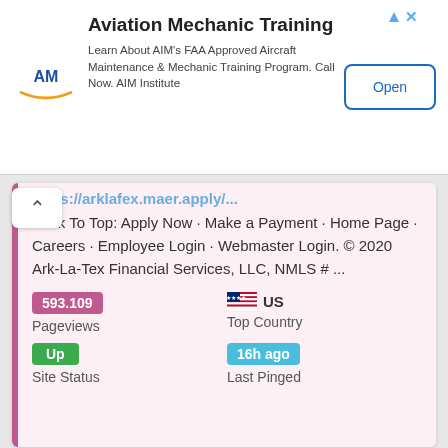[Figure (other): Advertisement banner for Aviation Mechanic Training by AIM Institute with logo, description text, and Open button]
Back To Top: Apply Now · Make a Payment · Home Page · Careers · Employee Login · Webmaster Login. © 2020 Ark-La-Tex Financial Services, LLC, NMLS # ...
593.109 Pageviews
US Top Country
Up Site Status
16h ago Last Pinged
[Figure (screenshot): Screenshot of Benchmark website with dark top bar and logo]